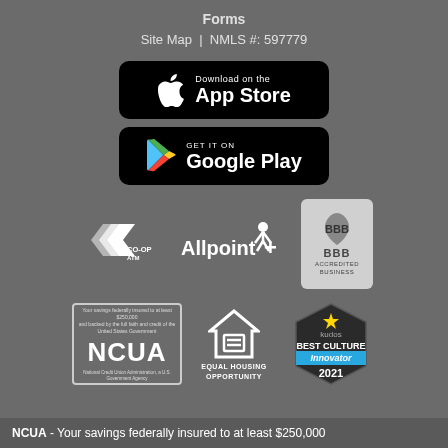Forms
Site Map | NMLS #: 597779
[Figure (logo): Download on the App Store badge (black rounded rectangle with Apple logo)]
[Figure (logo): Get it on Google Play badge (black rounded rectangle with Play Store triangle logo)]
[Figure (logo): CO-OP ATM logo and Allpoint+ logo side by side]
[Figure (logo): BBB Accredited Business badge]
[Figure (logo): NCUA federally insured badge]
[Figure (logo): Equal Housing Opportunity logo]
[Figure (logo): Kudos Best Culture Innovator 2021 badge]
NCUA - Your savings federally insured to at least $250,000